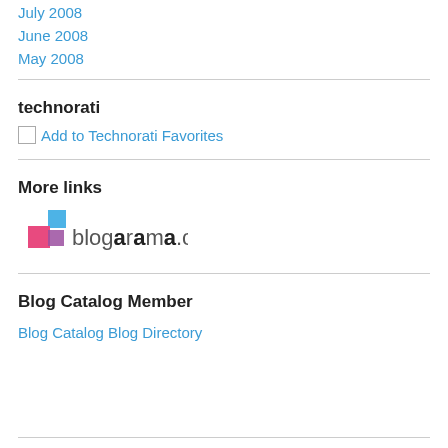July 2008
June 2008
May 2008
technorati
Add to Technorati Favorites
More links
[Figure (logo): Blogarama.com logo with colored squares]
Blog Catalog Member
Blog Catalog Blog Directory